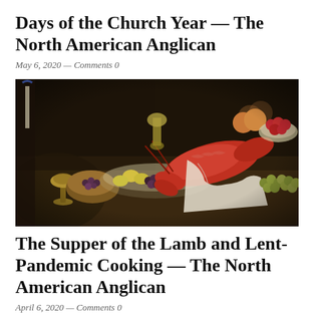Days of the Church Year — The North American Anglican
May 6, 2020 — Comments 0
[Figure (photo): A Dutch Golden Age-style oil painting still life featuring a lavish banquet table with a large red lobster, grapes, lemons, bread, chalice, oysters, and various fruits on silver platters against a dark background.]
The Supper of the Lamb and Lent-Pandemic Cooking — The North American Anglican
April 6, 2020 — Comments 0